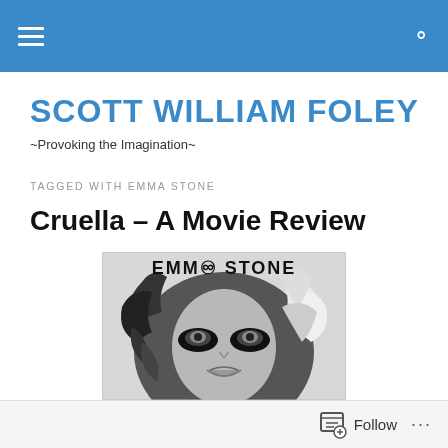Navigation bar with hamburger menu and search icon
SCOTT WILLIAM FOLEY
~Provoking the Imagination~
TAGGED WITH EMMA STONE
Cruella – A Movie Review
[Figure (photo): Black and white movie poster or promotional image for Cruella featuring Emma Stone with bold dark eye makeup and curly hair, text reads EMMA STONE at the top]
Follow ...